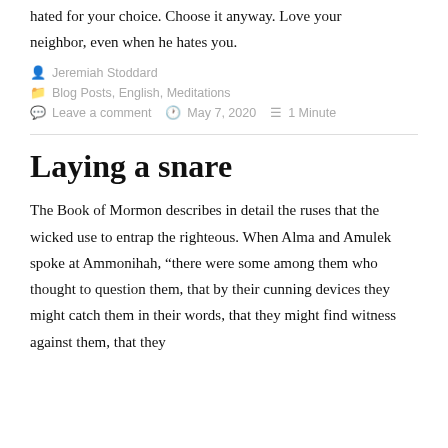hated for your choice. Choose it anyway. Love your neighbor, even when he hates you.
Jeremiah Stoddard
Blog Posts, English, Meditations
Leave a comment   May 7, 2020   1 Minute
Laying a snare
The Book of Mormon describes in detail the ruses that the wicked use to entrap the righteous. When Alma and Amulek spoke at Ammonihah, “there were some among them who thought to question them, that by their cunning devices they might catch them in their words, that they might find witness against them, that they